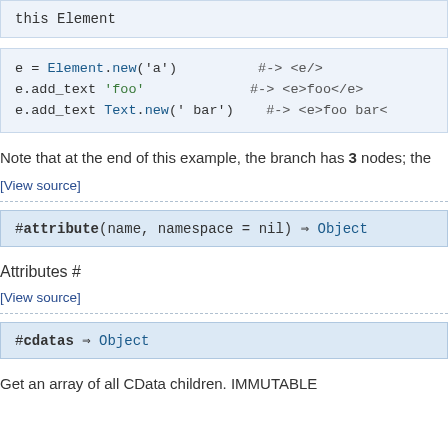this Element
[Figure (screenshot): Code block showing: e = Element.new('a') #-> <e/>   e.add_text 'foo' #-> <e>foo</e>   e.add_text Text.new(' bar') #-> <e>foo bar<...]
Note that at the end of this example, the branch has 3 nodes; the
[View source]
[Figure (screenshot): Method signature: #attribute(name, namespace = nil) => Object]
Attributes #
[View source]
[Figure (screenshot): Method signature: #cdatas => Object]
Get an array of all CData children. IMMUTABLE